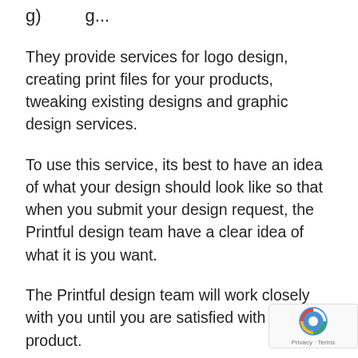g) ...g...
They provide services for logo design, creating print files for your products, tweaking existing designs and graphic design services.
To use this service, its best to have an idea of what your design should look like so that when you submit your design request, the Printful design team have a clear idea of what it is you want.
The Printful design team will work closely with you until you are satisfied with the final product.
This is a paid service and you will be charged according to your design requirements, to find out more this service and their pricing strategy...